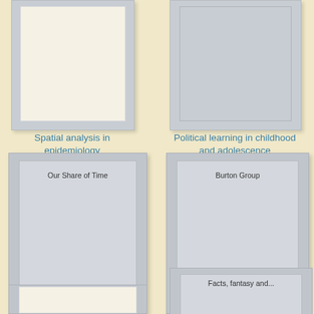[Figure (illustration): Book cover for 'Spatial analysis in epidemiology', light cream/white colored cover, partially visible at top]
Spatial analysis in epidemiology
[Figure (illustration): Book cover for 'Political learning in childhood and adolescence', gray colored cover, partially visible at top]
Political learning in childhood and adolescence
[Figure (illustration): Book cover for 'Our Share of Time', gray cover with inner label reading 'Our Share of Time']
Our Share of Time
[Figure (illustration): Book cover for 'Burton Group', gray cover with inner label reading 'Burton Group']
Burton Group
[Figure (illustration): Book cover, light cream/white, partially visible at bottom]
[Figure (illustration): Book cover partially visible at bottom with text 'Facts, fantasy and...']
Facts, fantasy and...